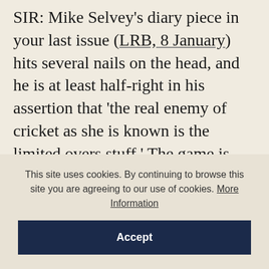SIR: Mike Selvey's diary piece in your last issue (LRB, 8 January) hits several nails on the head, and he is at least half-right in his assertion that 'the real enemy of cricket as she is known is the limited overs stuff.' The game is subject to its own version of Gresham's Law, with bad cricket driving out good: in recent years this has been made especially clear by the way in which short-pitched fast bowling has begun to dominate all levels of professional cricket, and not just the one-day game. The ability to deal with this kind of bowling
This site uses cookies. By continuing to browse this site you are agreeing to our use of cookies. More Information
Accept